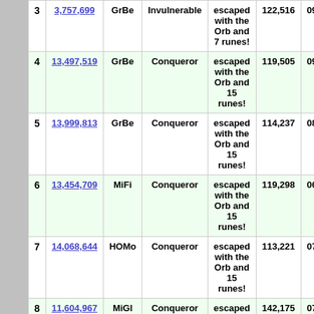| # | Score | Class | Title | Notes | Turns | Duration | Zi |
| --- | --- | --- | --- | --- | --- | --- | --- |
| 3 | 3,757,699 | GrBe | Invulnerable | escaped with the Orb and 7 runes! | 122,516 | 09:02:14 | Zi |
| 4 | 13,497,519 | GrBe | Conqueror | escaped with the Orb and 15 runes! | 119,505 | 09:19:59 | Zi |
| 5 | 13,999,813 | GrBe | Conqueror | escaped with the Orb and 15 runes! | 114,237 | 08:16:41 | Zi |
| 6 | 13,454,709 | MiFi | Conqueror | escaped with the Orb and 15 runes! | 119,298 | 06:35:31 | Zi |
| 7 | 14,068,644 | HOMo | Conqueror | escaped with the Orb and 15 runes! | 113,221 | 07:26:14 | Zi |
| 8 | 11,604,967 | MiGl | Conqueror | escaped with | 142,175 | 07:57:54 | Zi |